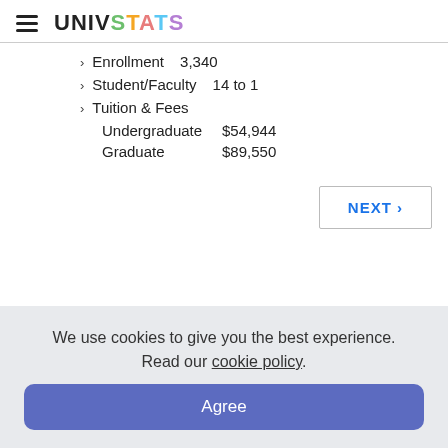UNIVSTATS
Enrollment   3,340
Student/Faculty   14 to 1
Tuition & Fees
Undergraduate   $54,944
Graduate   $89,550
NEXT ›
We use cookies to give you the best experience. Read our cookie policy.
Agree